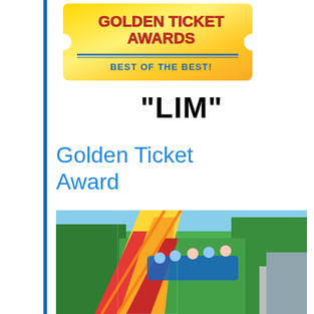[Figure (photo): Golden Ticket Awards logo - a golden ticket shape with 'GOLDEN TICKET AWARDS' in red and blue text, and 'BEST OF THE BEST!' in blue text on a gold/yellow background]
"LIM"
Golden Ticket Award
[Figure (photo): Photograph of a roller coaster with yellow and red track going at an incline, with riders visible in the car, surrounded by green trees]